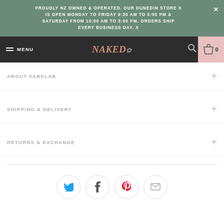PROUDLY NZ OWNED & OPERATED. OUR DUNEDIN STORE IS OPEN MONDAY TO FRIDAY 9:30 AM TO 5:00 PM & SATURDAY FROM 10:00 AM TO 3:00 PM. ORDERS SHIP EVERY BUSINESS DAY. X
MENU | NAKED BABY | 0
ABOUT FABELAB
SHIPPING & DELIVERY
RETURNS & EXCHANGE
[Figure (infographic): Social media icons in circles: Twitter (blue bird), Facebook (f), Pinterest (red p), Email (envelope)]